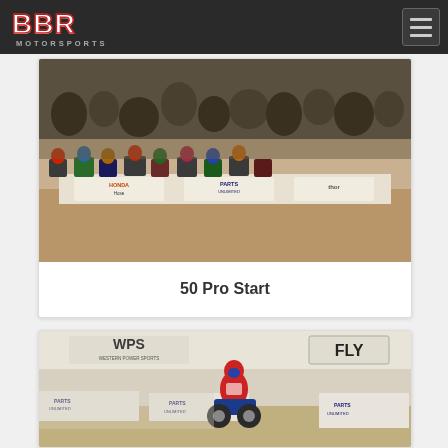BBR Motorsports
[Figure (photo): Motocross race start line with multiple small motorcycles and riders lined up on a dirt track indoors. Sponsor banners including PARTS UNLIMITED and THOR visible in the background.]
50 Pro Start
[Figure (photo): Motocross rider in red/white/blue gear riding a mini motorcycle on an indoor dirt track. WPS and FLY sponsor banners visible in background, PARTS UNLIMITED barriers on the side.]